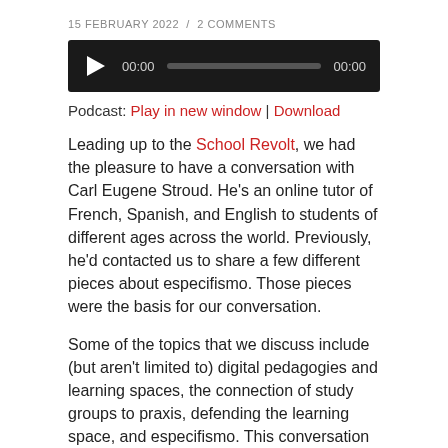15 FEBRUARY 2022  /  2 COMMENTS
[Figure (screenshot): Audio player widget with dark background, play button, timestamp 00:00, progress bar, and end time 00:00]
Podcast: Play in new window | Download
Leading up to the School Revolt, we had the pleasure to have a conversation with Carl Eugene Stroud. He’s an online tutor of French, Spanish, and English to students of different ages across the world. Previously, he’d contacted us to share a few different pieces about especifismo. Those pieces were the basis for our conversation.
Some of the topics that we discuss include (but aren’t limited to) digital pedagogies and learning spaces, the connection of study groups to praxis, defending the learning space, and especifismo. This conversation was awesome, so we’re really happy to share it with you!